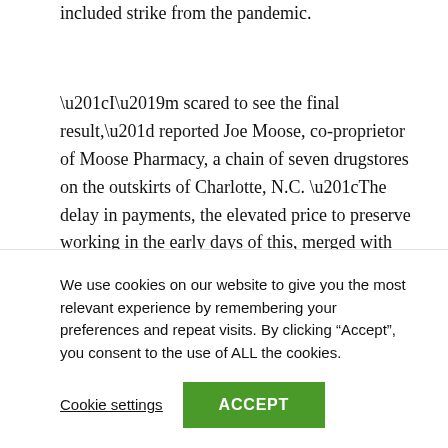also chains of unaffiliated pharmacies threats to bear. The included strike from the pandemic.
“I’m scared to see the final result,” reported Joe Moose, co-proprietor of Moose Pharmacy, a chain of seven drugstores on the outskirts of Charlotte, N.C. “The delay in payments, the elevated price to preserve working in the early days of this, merged with the fact that reimbursement is so lousy by now — COVID-19 could be the ultimate nail in the coffin for some of us.”
Moose Pharmacy is hoping to adapt. When it had to end
We use cookies on our website to give you the most relevant experience by remembering your preferences and repeat visits. By clicking “Accept”, you consent to the use of ALL the cookies.
Cookie settings
ACCEPT